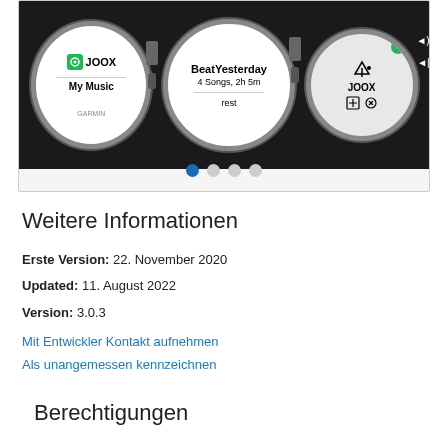[Figure (screenshot): Screenshot of a Garmin smartwatch app (JOOX music player) showing three watch face views: first shows JOOX logo and My Music, second shows BeatYesterday playlist with 4 Songs 2h 5m and rest label, third shows JOOX with music controls. Navigation dots below with first dot active.]
Weitere Informationen
Erste Version: 22. November 2020
Updated: 11. August 2022
Version: 3.0.3
Mit Entwickler Kontakt aufnehmen
Als unangemessen kennzeichnen
Berechtigungen